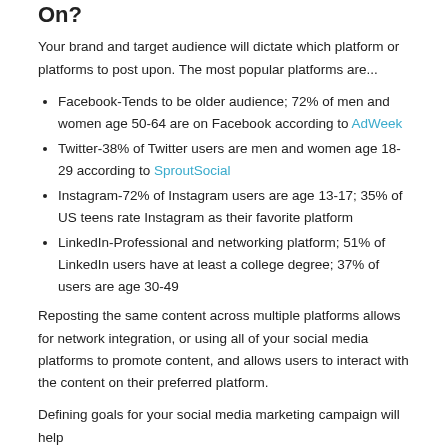On?
Your brand and target audience will dictate which platform or platforms to post upon. The most popular platforms are...
Facebook-Tends to be older audience; 72% of men and women age 50-64 are on Facebook according to AdWeek
Twitter-38% of Twitter users are men and women age 18-29 according to SproutSocial
Instagram-72% of Instagram users are age 13-17; 35% of US teens rate Instagram as their favorite platform
LinkedIn-Professional and networking platform; 51% of LinkedIn users have at least a college degree; 37% of users are age 30-49
Reposting the same content across multiple platforms allows for network integration, or using all of your social media platforms to promote content, and allows users to interact with the content on their preferred platform.
Defining goals for your social media marketing campaign will help